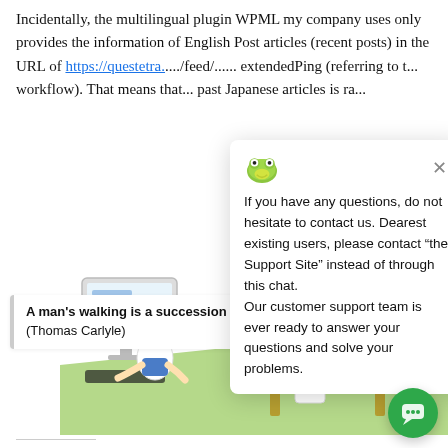Incidentally, the multilingual plugin WPML my company uses only provides the information of English Post articles (recent posts) in the URL of https://questetra.com/feed/... extendedPing (referring to the workflow). That means that past Japanese articles is ra...
[Figure (screenshot): Chat popup overlay with frog logo icon and close button. Text: 'If you have any questions, do not hesitate to contact us. Dearest existing users, please contact "the Support Site" instead of through this chat. Our customer support team is ever ready to answer your questions and solve your problems.']
[Figure (illustration): Cartoon illustration of a person happily working at a computer on the left, and a person slumped/sleeping at a computer on the right, with a green background area.]
A man's walking is a succession of falls.
(Thomas Carlyle)
[Figure (illustration): Green circular chat FAB button in bottom right corner.]